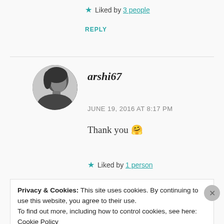★ Liked by 3 people
REPLY
arshi67
JUNE 19, 2016 AT 8:17 PM
Thank you 🤗
★ Liked by 1 person
Privacy & Cookies: This site uses cookies. By continuing to use this website, you agree to their use.
To find out more, including how to control cookies, see here: Cookie Policy
Close and accept